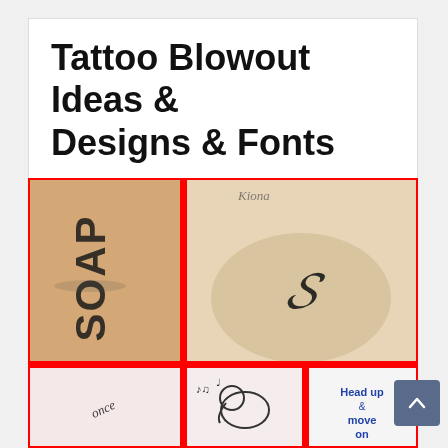Tattoo Blowout Ideas & Designs & Fonts
[Figure (photo): A collage of tattoo blowout examples showing distorted/blowout tattoos on skin. Top row: left image shows a leg with 'SOAP' text tattoo that has blowout ink bleeding; right image shows an ankle with a decorative 'S' monogram tattoo with blowout. Bottom row: left shows an arm tattoo with cursive text blowout, center shows a cartoon elephant tattoo outline with blowout, right shows a quote tattoo reading 'Head up & move on' with visible blowout. All images bordered in red.]